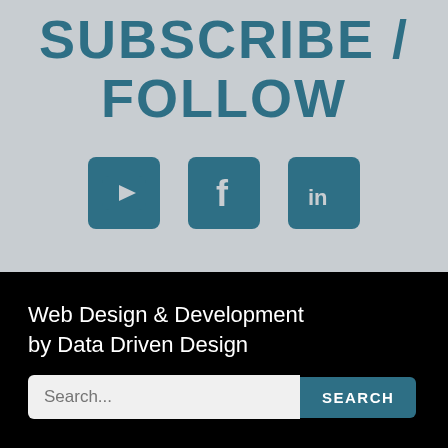SUBSCRIBE / FOLLOW
[Figure (infographic): Three social media icons in teal rounded-square buttons: YouTube (play triangle), Facebook (f), LinkedIn (in)]
Web Design & Development by Data Driven Design
Search...  SEARCH